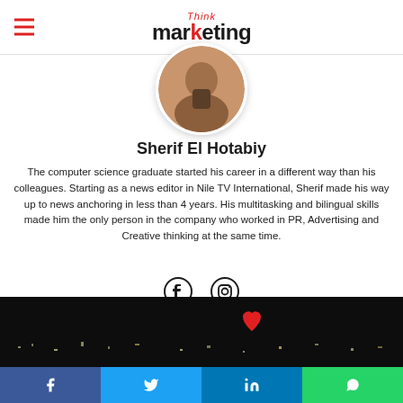Think marketing
[Figure (photo): Circular profile photo of a person, cropped, showing upper body against warm background]
Sherif El Hotabiy
The computer science graduate started his career in a different way than his colleagues. Starting as a news editor in Nile TV International, Sherif made his way up to news anchoring in less than 4 years. His multitasking and bilingual skills made him the only person in the company who worked in PR, Advertising and Creative thinking at the same time.
[Figure (illustration): Social media icons: Facebook and Instagram circles]
[Figure (photo): Dark cityscape image at night with a heart icon overlay]
Facebook | Twitter | LinkedIn | WhatsApp share bar